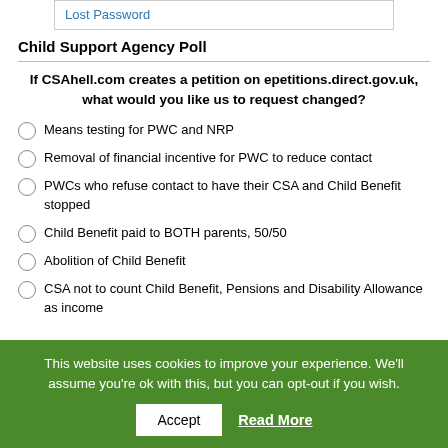Lost Password
Child Support Agency Poll
If CSAhell.com creates a petition on epetitions.direct.gov.uk, what would you like us to request changed?
Means testing for PWC and NRP
Removal of financial incentive for PWC to reduce contact
PWCs who refuse contact to have their CSA and Child Benefit stopped
Child Benefit paid to BOTH parents, 50/50
Abolition of Child Benefit
CSA not to count Child Benefit, Pensions and Disability Allowance as income
This website uses cookies to improve your experience. We'll assume you're ok with this, but you can opt-out if you wish.
Accept
Read More